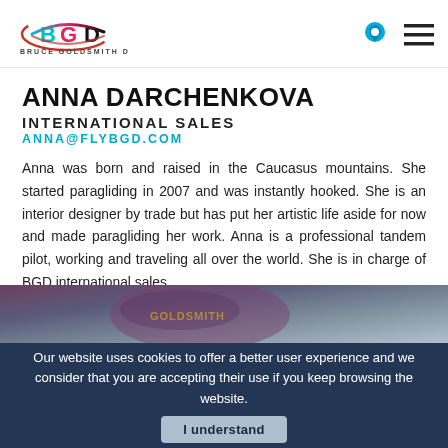[Figure (logo): Bruce Goldsmith Design logo — BGD initials in colorful arcs with text BRUCE GOLDSMITH DESIGN below]
ANNA DARCHENKOVA
INTERNATIONAL SALES
ANNA@FLYBGD.COM
Anna was born and raised in the Caucasus mountains. She started paragliding in 2007 and was instantly hooked. She is an interior designer by trade but has put her artistic life aside for now and made paragliding her work. Anna is a professional tandem pilot, working and traveling all over the world. She is in charge of BGD international sales.
[Figure (photo): Partial photo of a person wearing a dark maroon/purple paragliding jacket with Goldsmith branding, against a blurred background]
Our website uses cookies to offer a better user experience and we consider that you are accepting their use if you keep browsing the website. I understand